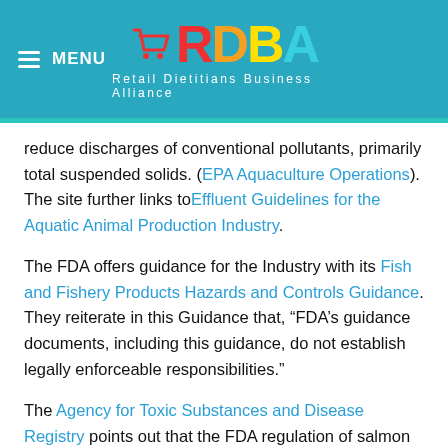MENU | RDBA - Retail Dietitians Business Alliance
reduce discharges of conventional pollutants, primarily total suspended solids. (EPA Aquaculture Operations). The site further links to Effluent Guidelines for the Aquatic Animal Production Industry.
The FDA offers guidance for the Industry with its Fish and Fishery Products Hazards and Controls Guidance. They reiterate in this Guidance that, “FDA’s guidance documents, including this guidance, do not establish legally enforceable responsibilities.”
The Agency for Toxic Substances and Disease Registry points out that the FDA regulation of salmon is with mercury; “a maximum permissible level of one part of methylmercury in a million parts of seafood (1 ppm).”